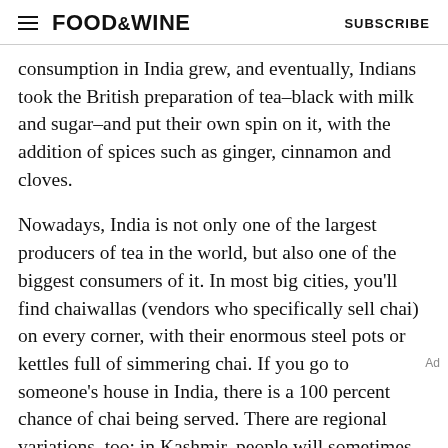FOOD&WINE   SUBSCRIBE
consumption in India grew, and eventually, Indians took the British preparation of tea–black with milk and sugar–and put their own spin on it, with the addition of spices such as ginger, cinnamon and cloves.
Nowadays, India is not only one of the largest producers of tea in the world, but also one of the biggest consumers of it. In most big cities, you'll find chaiwallas (vendors who specifically sell chai) on every corner, with their enormous steel pots or kettles full of simmering chai. If you go to someone's house in India, there is a 100 percent chance of chai being served. There are regional variations, too: in Kashmir, people will sometimes use green tea instead of black tea, and almonds are